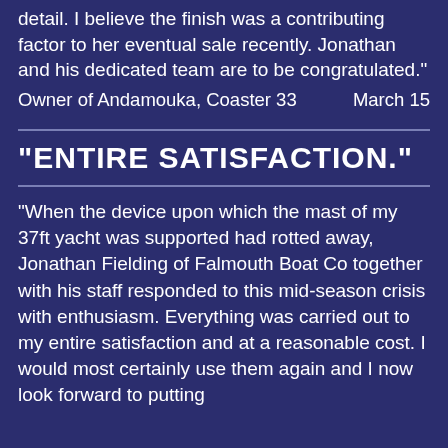detail. I believe the finish was a contributing factor to her eventual sale recently. Jonathan and his dedicated team are to be congratulated."
Owner of Andamouka, Coaster 33    March 15
"ENTIRE SATISFACTION."
"When the device upon which the mast of my 37ft yacht was supported had rotted away, Jonathan Fielding of Falmouth Boat Co together with his staff responded to this mid-season crisis with enthusiasm. Everything was carried out to my entire satisfaction and at a reasonable cost. I would most certainly use them again and I now look forward to putting